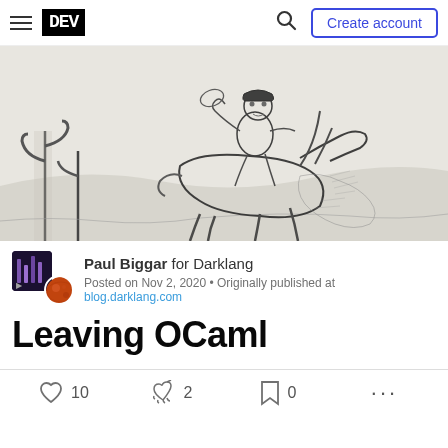DEV | Create account
[Figure (illustration): Black and white pen sketch illustration of a skeleton cowboy riding a rearing horse in a desert scene with cacti]
Paul Biggar for Darklang
Posted on Nov 2, 2020 • Originally published at blog.darklang.com
Leaving OCaml
10  2  0